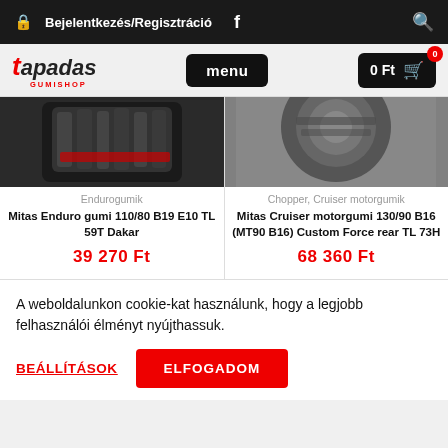Bejelentkezés/Regisztráció
[Figure (logo): Tapadas GumShop logo]
[Figure (photo): Enduro tire product image - Mitas Enduro gumi 110/80 B19 E10 TL 59T Dakar]
Endurogumik
Mitas Enduro gumi 110/80 B19 E10 TL 59T Dakar
39 270 Ft
[Figure (photo): Chopper/Cruiser tire product image - Mitas Cruiser motorgumi]
Chopper, Cruiser motorgumik
Mitas Cruiser motorgumi 130/90 B16 (MT90 B16) Custom Force rear TL 73H
68 360 Ft
A weboldalunkon cookie-kat használunk, hogy a legjobb felhasználói élményt nyújthassuk.
BEÁLLÍTÁSOK
ELFOGADOM